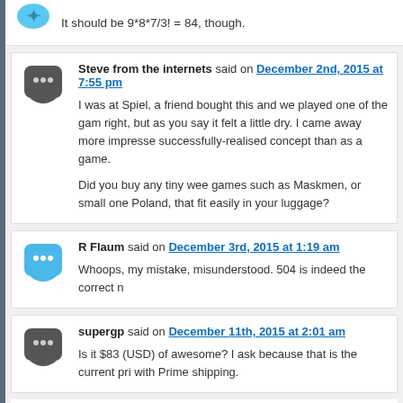It should be 9*8*7/3! = 84, though.
Steve from the internets said on December 2nd, 2015 at 7:55 pm
I was at Spiel, a friend bought this and we played one of the games. Right, but as you say it felt a little dry. I came away more impressed by a successfully-realised concept than as a game.
Did you buy any tiny wee games such as Maskmen, or small ones from Poland, that fit easily in your luggage?
R Flaum said on December 3rd, 2015 at 1:19 am
Whoops, my mistake, misunderstood. 504 is indeed the correct n
supergp said on December 11th, 2015 at 2:01 am
Is it $83 (USD) of awesome? I ask because that is the current pri with Prime shipping.
Leave a Reply
Your email address will not be published. Required fields are marked *